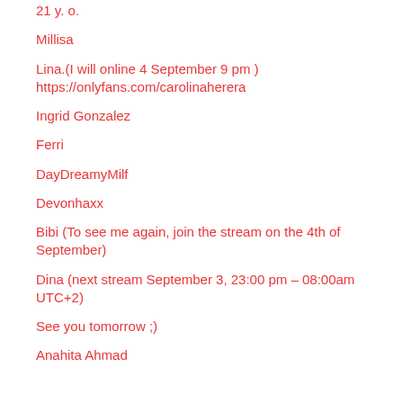21 y. o.
Millisa
Lina.(I will online 4 September 9 pm )
https://onlyfans.com/carolinaherera
Ingrid Gonzalez
Ferri
DayDreamyMilf
Devonhaxx
Bibi (To see me again, join the stream on the 4th of September)
Dina (next stream September 3, 23:00 pm – 08:00am UTC+2)
See you tomorrow ;)
Anahita Ahmad